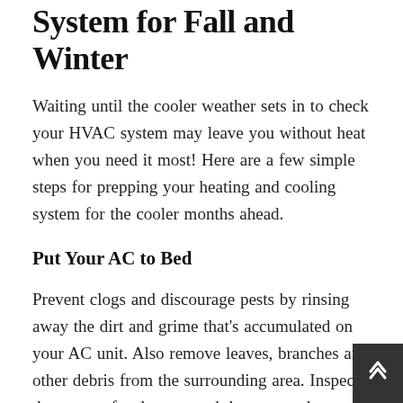System for Fall and Winter
Waiting until the cooler weather sets in to check your HVAC system may leave you without heat when you need it most! Here are a few simple steps for prepping your heating and cooling system for the cooler months ahead.
Put Your AC to Bed
Prevent clogs and discourage pests by rinsing away the dirt and grime that's accumulated on your AC unit. Also remove leaves, branches and other debris from the surrounding area. Inspect the system for damage and then cover the exposed pipe with foam insulation; this will prevent freezing.
Finally, you'll want to cover the unit but not entirely, as this could lead to moisture problems. Use a specially designed AC cover, or simply place a piece of plywood on top of the unit to keep out the winter weather and